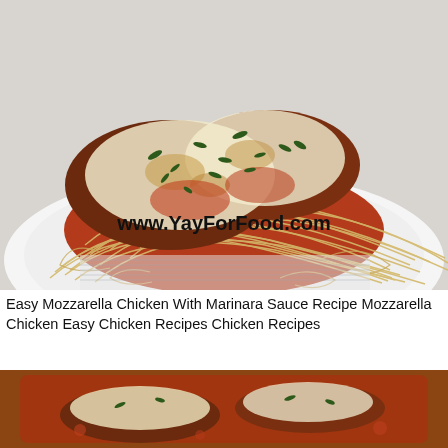[Figure (photo): Overhead photo of a white plate with mozzarella chicken on spaghetti in marinara sauce, topped with fresh basil. A striped napkin is underneath. Watermark text reads www.YayForFood.com]
Easy Mozzarella Chicken With Marinara Sauce Recipe Mozzarella Chicken Easy Chicken Recipes Chicken Recipes
[Figure (photo): Partial overhead view of a skillet or baking dish with mozzarella chicken in marinara sauce, partially visible at the bottom of the page.]